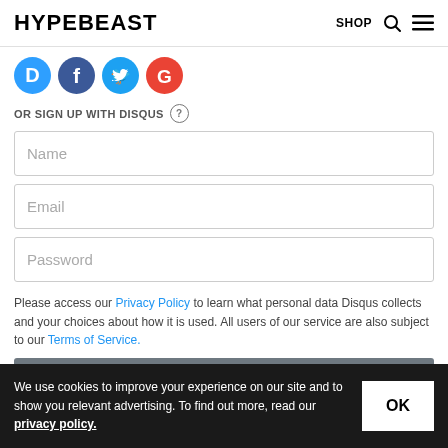HYPEBEAST   SHOP
[Figure (logo): Social login icons: Disqus (blue D), Facebook (blue f), Twitter (blue bird), Google (red G)]
OR SIGN UP WITH DISQUS ?
Name
Email
Password
Please access our Privacy Policy to learn what personal data Disqus collects and your choices about how it is used. All users of our service are also subject to our Terms of Service.
[Figure (other): Gray submit button with white right-arrow icon]
We use cookies to improve your experience on our site and to show you relevant advertising. To find out more, read our privacy policy.